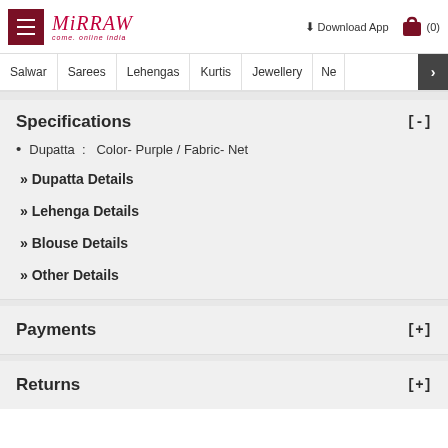Mirraw - come online india | Download App | (0)
Salwar | Sarees | Lehengas | Kurtis | Jewellery | Ne
Specifications [-]
Dupatta : Color- Purple / Fabric- Net
» Dupatta Details
» Lehenga Details
» Blouse Details
» Other Details
Payments [+]
Returns [+]